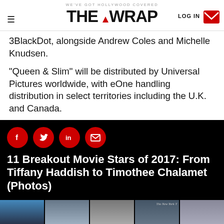WE'VE GOT HOLLYWOOD COVERED | THE WRAP
3BlackDot, alongside Andrew Coles and Michelle Knudsen.
“Queen & Slim” will be distributed by Universal Pictures worldwide, with eOne handling distribution in select territories including the U.K. and Canada.
11 Breakout Movie Stars of 2017: From Tiffany Haddish to Timothee Chalamet (Photos)
[Figure (photo): Strip of 5 celebrity headshot photos]